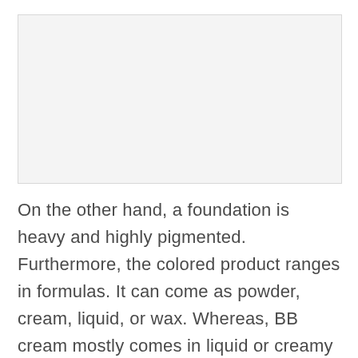[Figure (other): Light gray rectangular image placeholder area at the top of the page]
On the other hand, a foundation is heavy and highly pigmented. Furthermore, the colored product ranges in formulas. It can come as powder, cream, liquid, or wax. Whereas, BB cream mostly comes in liquid or creamy formulas.